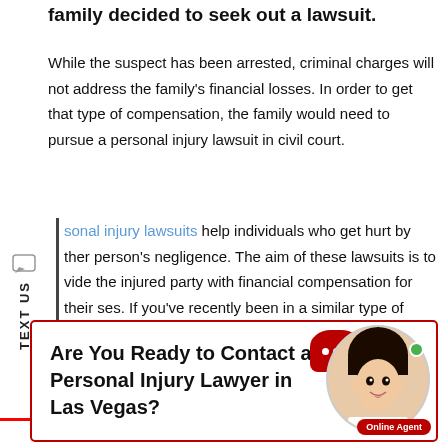family decided to seek out a lawsuit.
While the suspect has been arrested, criminal charges will not address the family's financial losses. In order to get that type of compensation, the family would need to pursue a personal injury lawsuit in civil court.
Personal injury lawsuits help individuals who get hurt by another person's negligence. The aim of these lawsuits is to provide the injured party with financial compensation for their losses. If you've recently been in a similar type of accident, then it might be in your best interests to determine whether you should seek out a claim, too.
Are You Ready to Contact a Personal Injury Lawyer in Las Vegas?